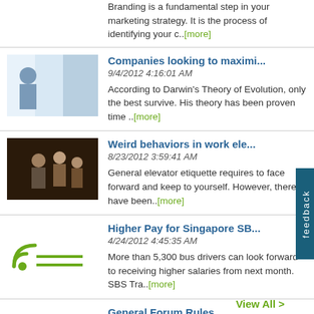Branding is a fundamental step in your marketing strategy. It is the process of identifying your c..[more]
Companies looking to maximi...
9/4/2012 4:16:01 AM
According to Darwin's Theory of Evolution, only the best survive. His theory has been proven time ..[more]
Weird behaviors in work ele...
8/23/2012 3:59:41 AM
General elevator etiquette requires to face forward and keep to yourself. However, there have been..[more]
Higher Pay for Singapore SB...
4/24/2012 4:45:35 AM
More than 5,300 bus drivers can look forward to receiving higher salaries from next month. SBS Tra..[more]
General Forum Rules
4/23/2012 10:18:57 AM
General Forum Rules: These rules apply to all Forum categories. We take the "Be Polite" rule v..[more]
View All >